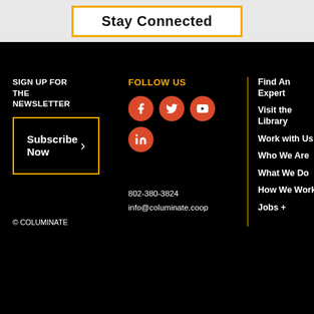Stay Connected
SIGN UP FOR THE NEWSLETTER
Subscribe Now
FOLLOW US
802-380-3824
info@columinate.coop
Find An Expert
Visit the Library
Work with Us
Who We Are
What We Do
How We Work
Jobs +
© COLUMINATE